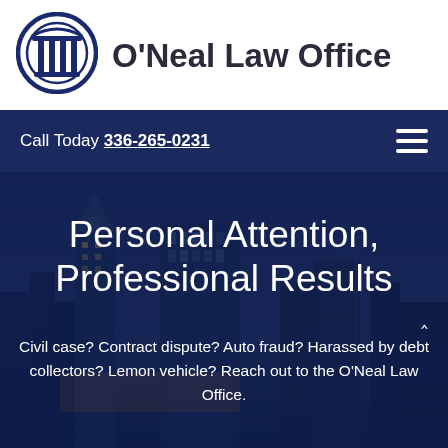[Figure (logo): O'Neal Law Office logo: circular blue emblem with white columns/pillar icon]
O'Neal Law Office
Call Today 336-265-0231
[Figure (photo): Dark overlay photo of a city skyline with buildings at dusk/night, used as hero background]
Personal Attention, Professional Results
Civil case? Contract dispute? Auto fraud? Harassed by debt collectors? Lemon vehicle? Reach out to the O'Neal Law Office.